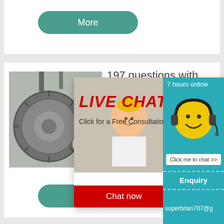[Figure (illustration): Teal rounded rectangle button labeled 'More']
[Figure (photo): Industrial ball mill machinery with gears, and workers in yellow hard hats in foreground]
197 questions with answers in BALL MILLING
information on how m... traditionally fed to th... mills (used to make t...
[Figure (illustration): Live chat popup overlay with worker photo, LIVE CHAT title in red italic, 'Click for a Free Consultation' subtitle, Chat now and Chat later buttons]
[Figure (illustration): Right side panel: teal background with smiley headset icon, '7 hours online', 'Click me to chat >>' button, Enquiry section, email starting with superbrian707@g]
[Figure (illustration): Teal rounded rectangle button labeled 'More']